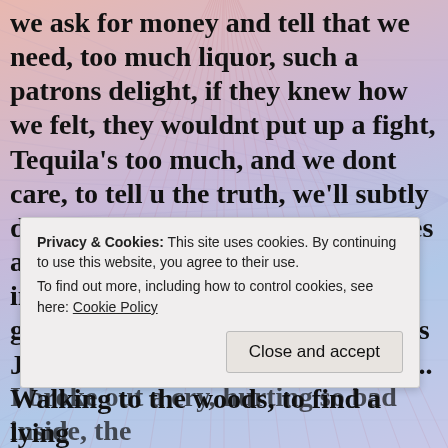we ask for money and tell that we need, too much liquor, such a patrons delight, if they knew how we felt, they wouldnt put up a fight, Tequila's too much, and we dont care, to tell u the truth, we'll subtly dare.. Relaxed is good, as the voices arent mad, if i could give up, the insanity would be bad.. Sipping to gain control, thinking its so cool, as Johnny barlycorn has us like fools.. Walking to the woods, to find a lying spot, trying to duck from the big city scene. As
Privacy & Cookies: This site uses cookies. By continuing to use this website, you agree to their use.
To find out more, including how to control cookies, see here: Cookie Policy
I broke out a cry, hurting so bad inside, the